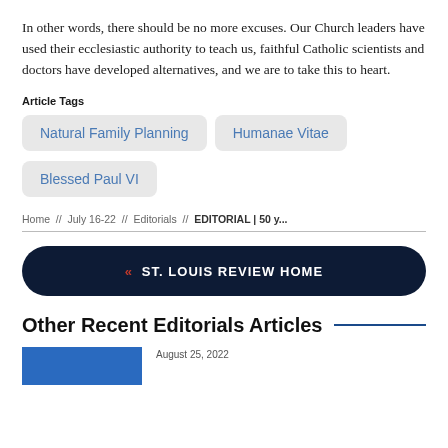In other words, there should be no more excuses. Our Church leaders have used their ecclesiastic authority to teach us, faithful Catholic scientists and doctors have developed alternatives, and we are to take this to heart.
Article Tags
Natural Family Planning
Humanae Vitae
Blessed Paul VI
Home // July 16-22 // Editorials // EDITORIAL | 50 y...
« ST. LOUIS REVIEW HOME
Other Recent Editorials Articles
August 25, 2022